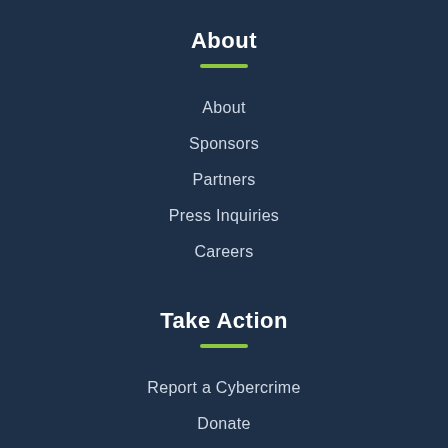About
About
Sponsors
Partners
Press Inquiries
Careers
Take Action
Report a Cybercrime
Donate